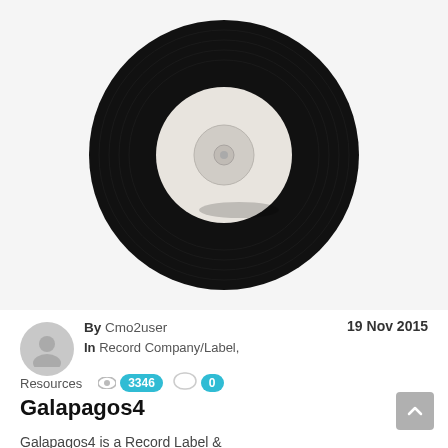[Figure (photo): A black vinyl record (7-inch single) photographed from above on a white background. The record is black with a white/cream center label area.]
By Cmo2user
In Record Company/Label, Resources
19 Nov 2015
3346 views · 0 comments
Galapagos4
Galapagos4 is a Record Label &